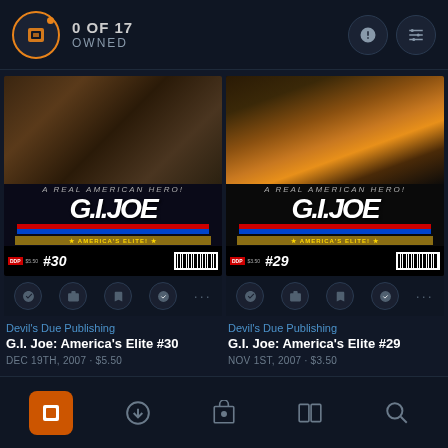0 OF 17 OWNED
[Figure (screenshot): Comic cover: G.I. Joe America's Elite #30, Devil's Due Publishing, action figures/characters on cover]
[Figure (screenshot): Comic cover: G.I. Joe America's Elite #29, Devil's Due Publishing, fire and character on cover]
Devil's Due Publishing
G.I. Joe: America's Elite #30
DEC 19TH, 2007 · $5.50
Devil's Due Publishing
G.I. Joe: America's Elite #29
NOV 1ST, 2007 · $3.50
Navigation bar with: My Collection, Downloads, Store, Reading List, Search